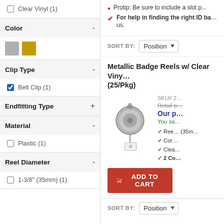Clear Vinyl (1)
Color -
[Figure (illustration): Two color swatches: gray and gold/yellow]
Clip Type -
Belt Clip (1)
Endfitting Type +
Material -
Plastic (1)
Reel Diameter -
1-3/8" (35mm) (1)
For help in finding the right ID ba... us.
SORT BY: Position
Metallic Badge Reels w/ Clear Vinyl... (25/Pkg)
[Figure (photo): Gray metallic badge reel with clear vinyl strap and belt clip]
SKU# 2...
Retail p...
Our p...
You sa...
Ree... (35m...
Cor...
Clea...
2 Co...
ADD TO CART
SORT BY: Position